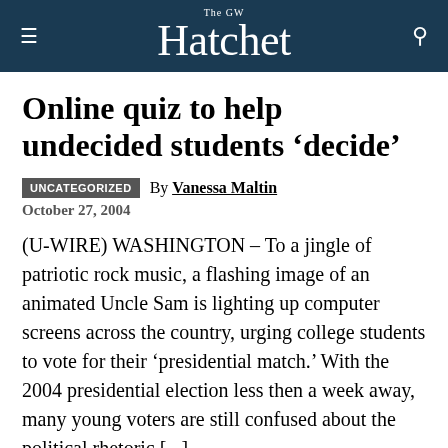The GW Hatchet
Online quiz to help undecided students ‘decide’
UNCATEGORIZED   By Vanessa Maltin
October 27, 2004
(U-WIRE) WASHINGTON – To a jingle of patriotic rock music, a flashing image of an animated Uncle Sam is lighting up computer screens across the country, urging college students to vote for their ‘presidential match.’ With the 2004 presidential election less then a week away, many young voters are still confused about the political rhetoric [...]